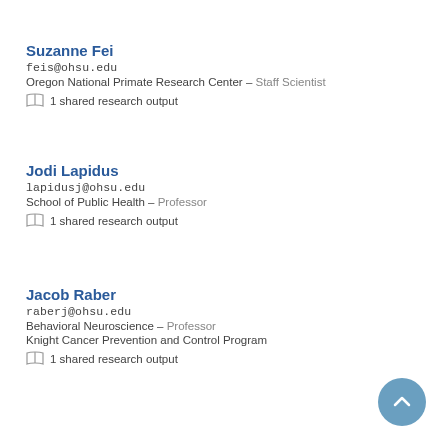Suzanne Fei
feis@ohsu.edu
Oregon National Primate Research Center – Staff Scientist
1 shared research output
Jodi Lapidus
lapidusj@ohsu.edu
School of Public Health – Professor
1 shared research output
Jacob Raber
raberj@ohsu.edu
Behavioral Neuroscience – Professor
Knight Cancer Prevention and Control Program
1 shared research output